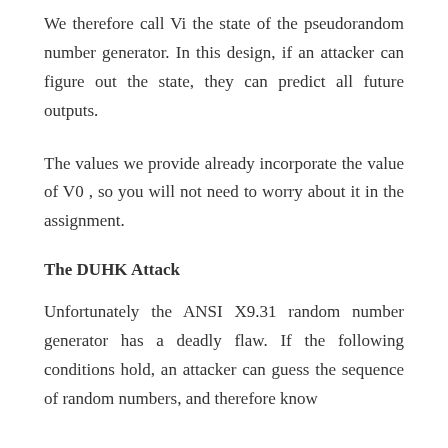We therefore call Vi the state of the pseudorandom number generator. In this design, if an attacker can figure out the state, they can predict all future outputs.
The values we provide already incorporate the value of V0 , so you will not need to worry about it in the assignment.
The DUHK Attack
Unfortunately the ANSI X9.31 random number generator has a deadly flaw. If the following conditions hold, an attacker can guess the sequence of random numbers, and therefore know